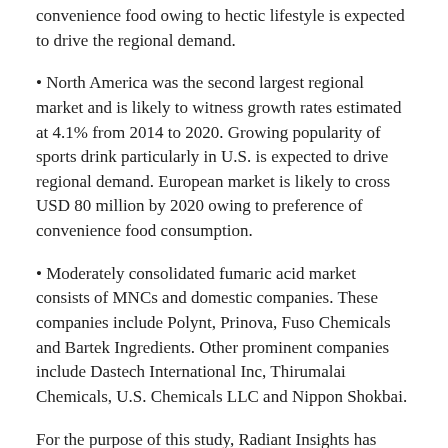convenience food owing to hectic lifestyle is expected to drive the regional demand.
• North America was the second largest regional market and is likely to witness growth rates estimated at 4.1% from 2014 to 2020. Growing popularity of sports drink particularly in U.S. is expected to drive regional demand. European market is likely to cross USD 80 million by 2020 owing to preference of convenience food consumption.
• Moderately consolidated fumaric acid market consists of MNCs and domestic companies. These companies include Polynt, Prinova, Fuso Chemicals and Bartek Ingredients. Other prominent companies include Dastech International Inc, Thirumalai Chemicals, U.S. Chemicals LLC and Nippon Shokbai.
For the purpose of this study, Radiant Insights has segmented the